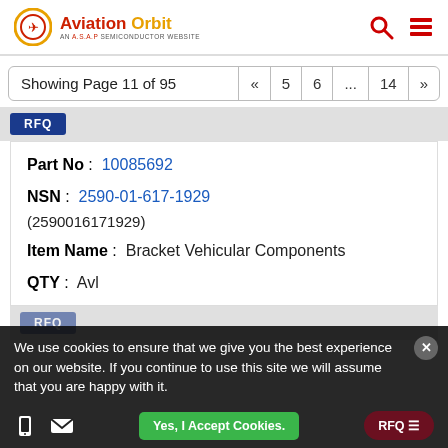Aviation Orbit – AN A.S.A.P SEMICONDUCTOR WEBSITE
Showing Page 11 of 95 « 5 6 ... 14 »
RFQ
Part No: 10085692
NSN: 2590-01-617-1929 (2590016171929)
Item Name: Bracket Vehicular Components
QTY: Avl
RFQ
We use cookies to ensure that we give you the best experience on our website. If you continue to use this site we will assume that you are happy with it.
Yes, I Accept Cookies.
RFQ